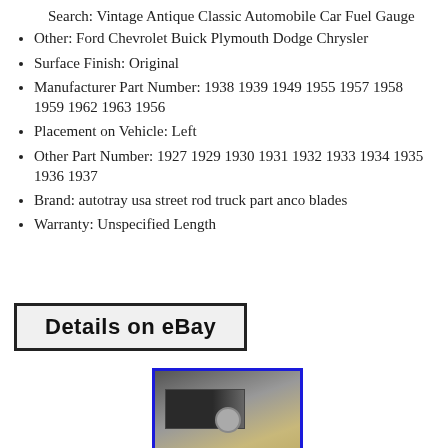Search: Vintage Antique Classic Automobile Car Fuel Gauge
Other: Ford Chevrolet Buick Plymouth Dodge Chrysler
Surface Finish: Original
Manufacturer Part Number: 1938 1939 1949 1955 1957 1958 1959 1962 1963 1956
Placement on Vehicle: Left
Other Part Number: 1927 1929 1930 1931 1932 1933 1934 1935 1936 1937
Brand: autotray usa street rod truck part anco blades
Warranty: Unspecified Length
Details on eBay
[Figure (photo): Small thumbnail photo of a vintage car fuel gauge part, shown against a beige/tan background, with a blue border around the image.]